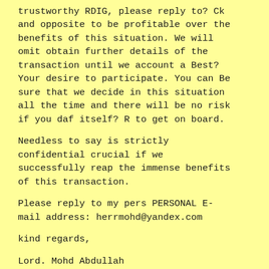trustworthy RDIG, please reply to? Ck and opposite to be profitable over the benefits of this situation. We will omit obtain further details of the transaction until we account a Best? Your desire to participate. You can Be sure that we decide in this situation all the time and there will be no risk if you daf itself? R to get on board.
Needless to say is strictly confidential crucial if we successfully reap the immense benefits of this transaction.
Please reply to my pers PERSONAL E-mail address: herrmohd@yandex.com
kind regards,
Lord. Mohd Abdullah